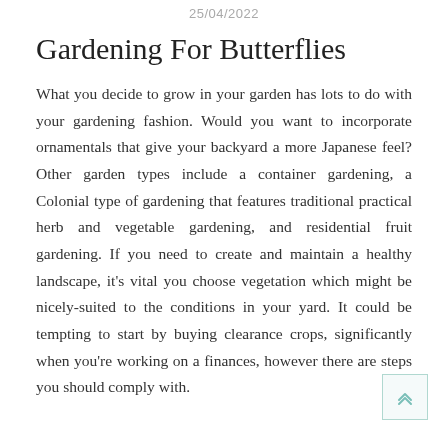25/04/2022
Gardening For Butterflies
What you decide to grow in your garden has lots to do with your gardening fashion. Would you want to incorporate ornamentals that give your backyard a more Japanese feel? Other garden types include a container gardening, a Colonial type of gardening that features traditional practical herb and vegetable gardening, and residential fruit gardening. If you need to create and maintain a healthy landscape, it’s vital you choose vegetation which might be nicely-suited to the conditions in your yard. It could be tempting to start by buying clearance crops, significantly when you’re working on a finances, however there are steps you should comply with.